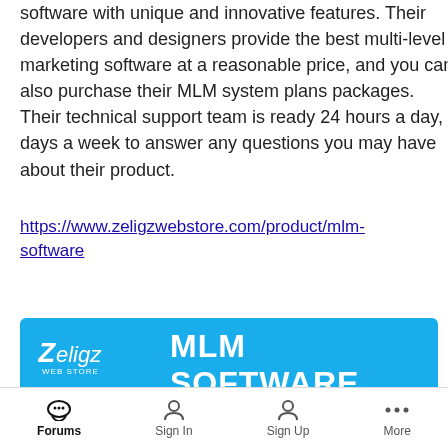software with unique and innovative features. Their developers and designers provide the best multi-level marketing software at a reasonable price, and you can also purchase their MLM system plans packages. Their technical support team is ready 24 hours a day, 7 days a week to answer any questions you may have about their product.
https://www.zeligzwebstore.com/product/mlm-software
[Figure (infographic): Zeligz Web Store MLM Software promotional banner showing logo, title 'MLM SOFTWARE', subtitle about advanced features, and plan options: 1 Binary Plan, 2 Matrix Plan (left column), 5 Party Plan, 6 Board Plan (right column), with partially visible Generation Plan and Australian Plan at bottom.]
Forums  Sign In  Sign Up  More